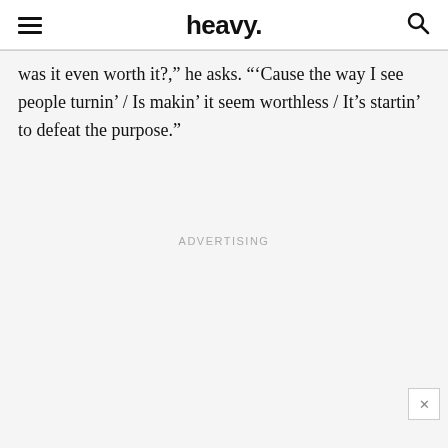heavy.
was it even worth it?," he asks. "'Cause the way I see people turnin' / Is makin' it seem worthless / It's startin' to defeat the purpose."
ADVERTISING